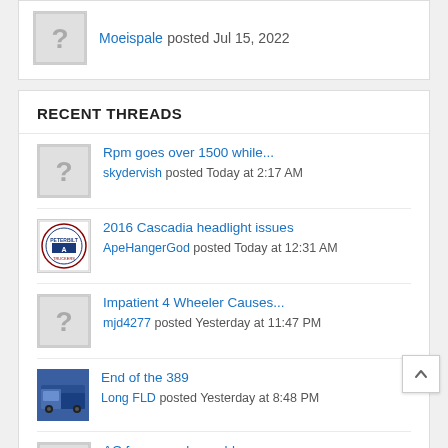Moeispale posted Jul 15, 2022
RECENT THREADS
Rpm goes over 1500 while... skydervish posted Today at 2:17 AM
2016 Cascadia headlight issues ApeHangerGod posted Today at 12:31 AM
Impatient 4 Wheeler Causes... mjd4277 posted Yesterday at 11:47 PM
End of the 389 Long FLD posted Yesterday at 8:48 PM
AC freeze probe problem jeffman164 posted Yesterday at 8:27 PM
Quantix Tall Mike posted Yesterday at 6:40 PM
87 Mack RD685p Won't build air EricJDecker posted Yesterday at 5:19 PM